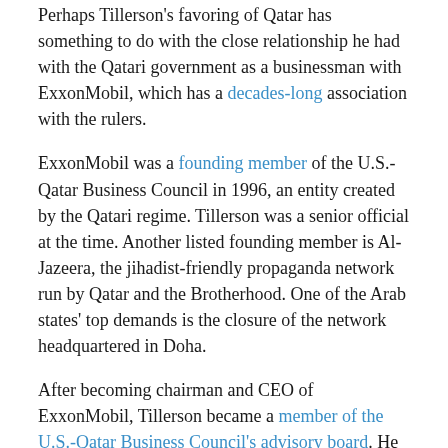Perhaps Tillerson's favoring of Qatar has something to do with the close relationship he had with the Qatari government as a businessman with ExxonMobil, which has a decades-long association with the rulers.
ExxonMobil was a founding member of the U.S.-Qatar Business Council in 1996, an entity created by the Qatari regime. Tillerson was a senior official at the time. Another listed founding member is Al-Jazeera, the jihadist-friendly propaganda network run by Qatar and the Brotherhood. One of the Arab states' top demands is the closure of the network headquartered in Doha.
After becoming chairman and CEO of ExxonMobil, Tillerson became a member of the U.S.-Qatar Business Council's advisory board. He apparently held this position up until when he became Secretary of State, as his name is still listed with that title on the website.